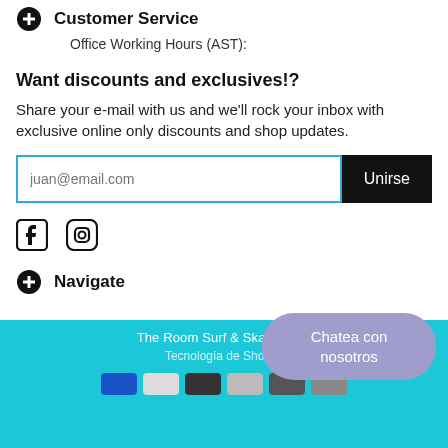Customer Service
Office Working Hours (AST):
Want discounts and exclusives!?
Share your e-mail with us and we'll rock your inbox with exclusive online only discounts and shop updates.
juan@email.com [input] Unirse [button]
[Figure (other): Facebook and Instagram social media icons]
Navigate
The Room Surf & Skate Shop
Tecnología de Shopify
Chatea con nosotros